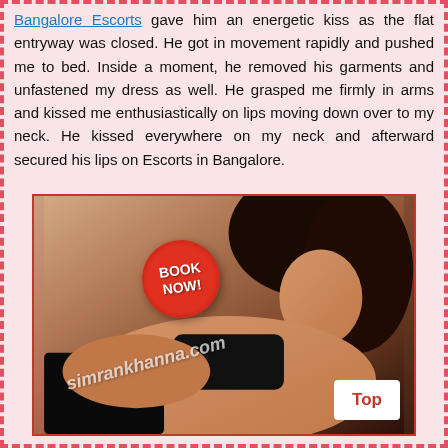Bangalore Escorts gave him an energetic kiss as the flat entryway was closed. He got in movement rapidly and pushed me to bed. Inside a moment, he removed his garments and unfastened my dress as well. He grasped me firmly in arms and kissed me enthusiastically on lips moving down over to my neck. He kissed everywhere on my neck and afterward secured his lips on Escorts in Bangalore.
[Figure (photo): Promotional photo with a BOOK NOW button and simrankhanna.com watermark, with a Top button.]